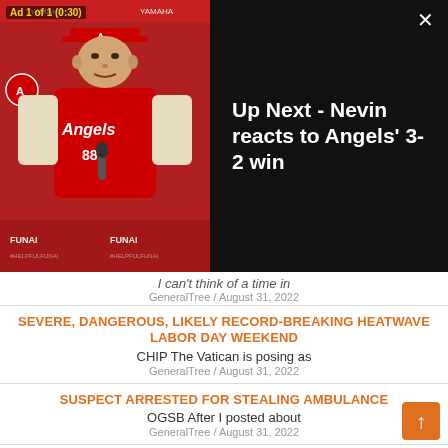[Figure (screenshot): Video player overlay showing Angels baseball manager press conference thumbnail on left (red background, man in Angels uniform), and 'Up Next - Nevin reacts to Angels' 3-2 win' text on black right panel with close X button. Ad badge top-left reads 'Ad 1 of 1 (0:30)'.]
I can't think of a time in
GeneralTree / August 31, 2022
SEVERE, DANGEROUS, LIKELY RECORD-BREAKING HEATWAVE LABOR DAY WEEKEND
CHIP The Vatican is posing as
GeneralTree / August 31, 2022
SUSPECT ARRESTED FOR STEALING AMBULANCE
OGSB After I posted about
GeneralTree / August 31, 2022
GOLETA LIBRARY PARKING LOT HOME?
Paying my taxes
el_smurfo / August 31, 2022
SUSPECT ARRESTED FOR STEALING AMBULANCE